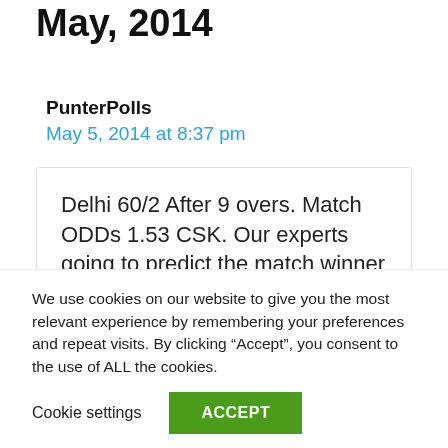May, 2014
PunterPolls
May 5, 2014 at 8:37 pm
Delhi 60/2 After 9 overs. Match ODDs 1.53 CSK. Our experts going to predict the match winner at half time. As of now, they are
We use cookies on our website to give you the most relevant experience by remembering your preferences and repeat visits. By clicking “Accept”, you consent to the use of ALL the cookies.
Cookie settings
ACCEPT